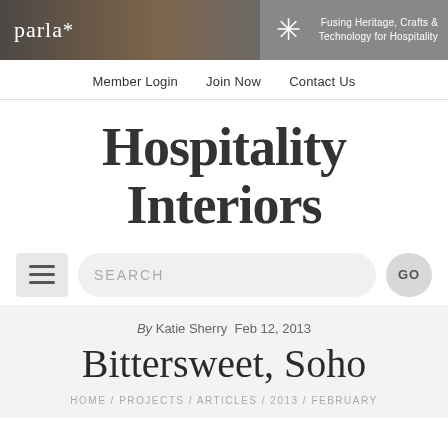[Figure (screenshot): Website header banner for Hospitality Interiors / Parla magazine with photo of bar/restaurant interior, star logo, and tagline 'Fusing Heritage, Crafts & Technology for Hospitality']
Member Login  Join Now  Contact Us
Hospitality Interiors
SEARCH  GO
By Katie Sherry Feb 12, 2013
Bittersweet, Soho
HOME / PROJECTS / ARTICLES / 2013 / FEBRUARY